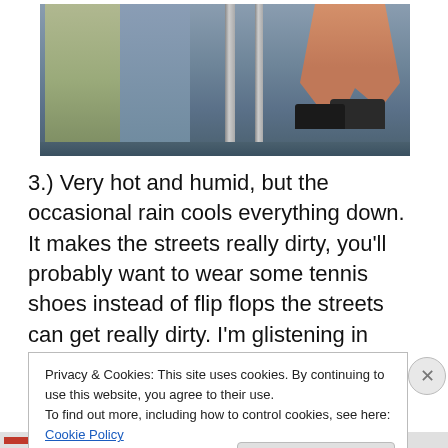[Figure (photo): Photo showing legs and feet of people, with a blue/grey floor and metal poles visible. One person wearing khaki pants on the left, another person with bare legs and dark shoes on the right.]
3.) Very hot and humid, but the occasional rain cools everything down. It makes the streets really dirty, you'll probably want to wear some tennis shoes instead of flip flops the streets can get really dirty. I'm glistening in most of my pics especially because we did a lot of walking.
Privacy & Cookies: This site uses cookies. By continuing to use this website, you agree to their use.
To find out more, including how to control cookies, see here: Cookie Policy